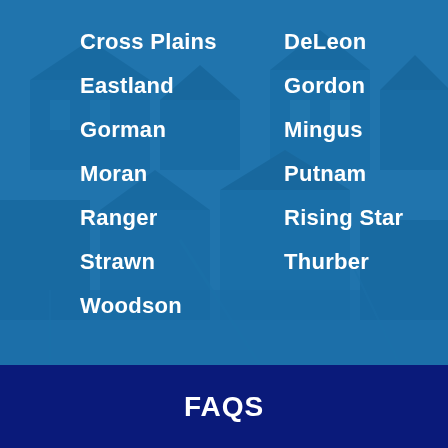Cross Plains
DeLeon
Eastland
Gordon
Gorman
Mingus
Moran
Putnam
Ranger
Rising Star
Strawn
Thurber
Woodson
FAQS